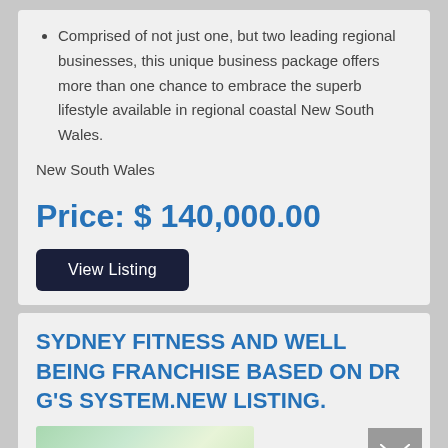Comprised of not just one, but two leading regional businesses, this unique business package offers more than one chance to embrace the superb lifestyle available in regional coastal New South Wales.
New South Wales
Price: $ 140,000.00
View Listing
SYDNEY FITNESS AND WELL BEING FRANCHISE BASED ON DR G'S SYSTEM.NEW LISTING.
[Figure (photo): Partial image strip visible at bottom of page, appears to be a green outdoor or nature scene]